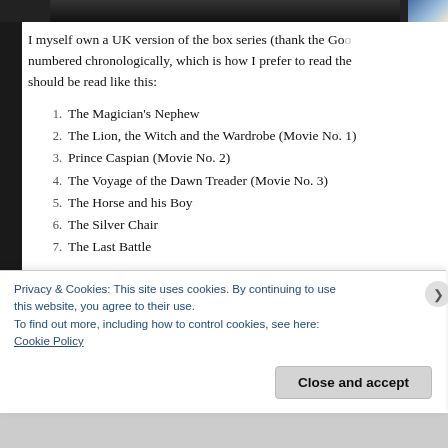[Figure (photo): Dark image strip at top of page, partially visible book cover or photo]
I myself own a UK version of the box series (thank the Go... numbered chronologically, which is how I prefer to read the... should be read like this:
1. The Magician's Nephew
2. The Lion, the Witch and the Wardrobe (Movie No. 1)
3. Prince Caspian (Movie No. 2)
4. The Voyage of the Dawn Treader (Movie No. 3)
5. The Horse and his Boy
6. The Silver Chair
7. The Last Battle
While books 2, 3 and 4, which were made into movies, tackle... children in Narnia, the other books concern other main ch...
Privacy & Cookies: This site uses cookies. By continuing to use this website, you agree to their use.
To find out more, including how to control cookies, see here:
Cookie Policy